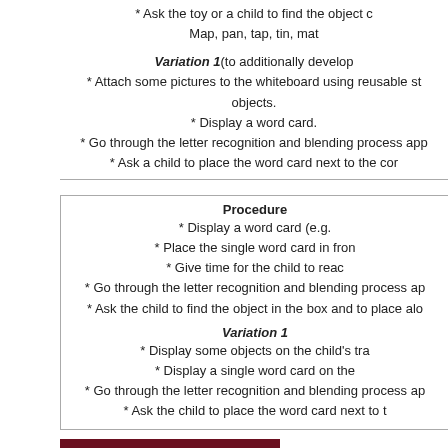* Ask the toy or a child to find the object c(ut off) Map, pan, tap, tin, mat(cut off)
Variation 1 (to additionally develop...)
* Attach some pictures to the whiteboard using reusable st(ickers) objects.
* Display a word card.
* Go through the letter recognition and blending process app(roach)
* Ask a child to place the word card next to the cor(rect picture)
Procedure
* Display a word card (e.g....
* Place the single word card in fron(t of the child)
* Give time for the child to reac(t)
* Go through the letter recognition and blending process ap(proach)
* Ask the child to find the object in the box and to place alo(ngside)
Variation 1
* Display some objects on the child's tra(y)
* Display a single word card on the(...)
* Go through the letter recognition and blending process ap(proach)
* Ask the child to place the word card next to t(he correct object)